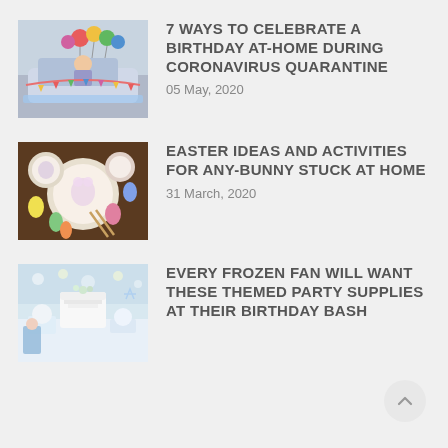[Figure (photo): Person in a car decorated with colorful balloons and birthday banners for a drive-by birthday celebration]
7 WAYS TO CELEBRATE A BIRTHDAY AT-HOME DURING CORONAVIRUS QUARANTINE
05 May, 2020
[Figure (photo): Easter-themed tableware and decorations including plates with bunny designs and colorful Easter eggs on a wooden table]
EASTER IDEAS AND ACTIVITIES FOR ANY-BUNNY STUCK AT HOME
31 March, 2020
[Figure (photo): Frozen-themed party setup with a white cake, decorations and party supplies on a table]
EVERY FROZEN FAN WILL WANT THESE THEMED PARTY SUPPLIES AT THEIR BIRTHDAY BASH